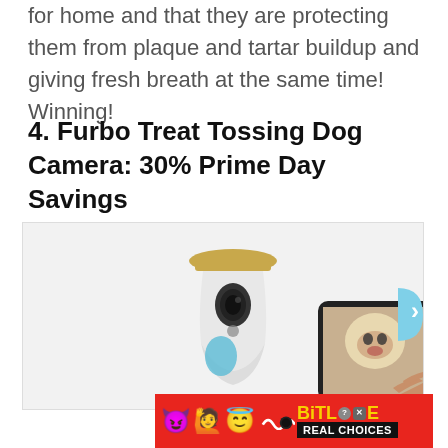for home and that they are protecting them from plaque and tartar buildup and giving fresh breath at the same time! Winning!
4. Furbo Treat Tossing Dog Camera: 30% Prime Day Savings
[Figure (photo): Product photo of Furbo dog camera device (white hourglass-shaped device with bamboo top and camera lens) next to a smartphone showing a French bulldog on screen, held by a hand. A teal/blue circular accent is visible on the device. A 'next' arrow button partially visible on the right side.]
[Figure (other): BitLife ad banner with red background, emoji characters (devil, woman, angel face), wave symbol, BitLife logo in yellow, and 'REAL CHOICES' text in white on black.]